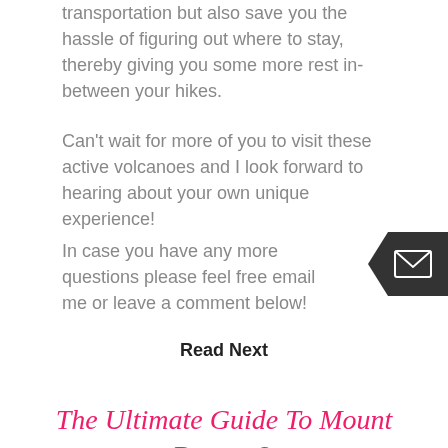transportation but also save you the hassle of figuring out where to stay, thereby giving you some more rest in-between your hikes.
Can't wait for more of you to visit these active volcanoes and I look forward to hearing about your own unique experience!
In case you have any more questions please feel free email me or leave a comment below!
Read Next
The Ultimate Guide To Mount Bromo & Kawah Ijen, Indonesia